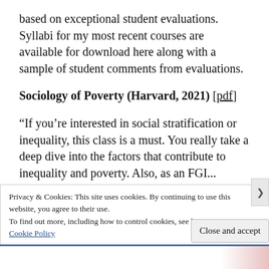based on exceptional student evaluations. Syllabi for my most recent courses are available for download here along with a sample of student comments from evaluations.
Sociology of Poverty (Harvard, 2021) [pdf]
“If you’re interested in social stratification or inequality, this class is a must. You really take a deep dive into the factors that contribute to inequality and poverty. Also, as an FGI...
Privacy & Cookies: This site uses cookies. By continuing to use this website, you agree to their use.
To find out more, including how to control cookies, see here: Cookie Policy